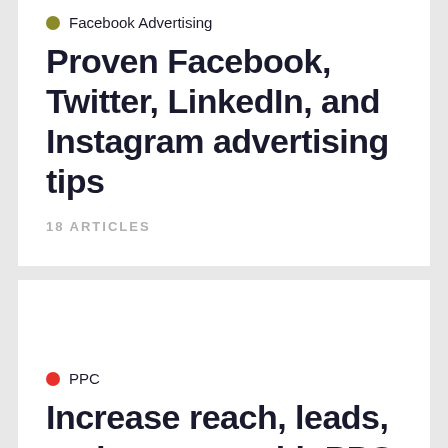Facebook Advertising
Proven Facebook, Twitter, LinkedIn, and Instagram advertising tips
18 ARTICLES
PPC
Increase reach, leads, and revenue with PPC